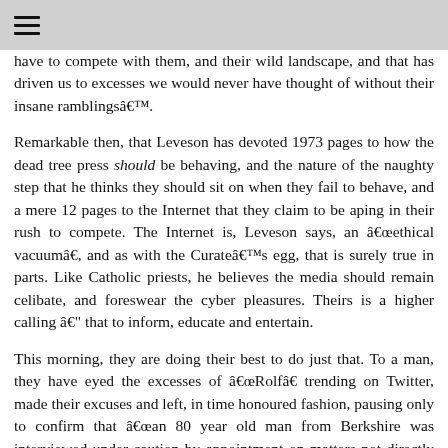≡
have to compete with them, and their wild landscape, and that has driven us to excesses we would never have thought of without their insane ramblingsâ.
Remarkable then, that Leveson has devoted 1973 pages to how the dead tree press should be behaving, and the nature of the naughty step that he thinks they should sit on when they fail to behave, and a mere 12 pages to the Internet that they claim to be aping in their rush to compete. The Internet is, Leveson says, an âethical vacuumâ, and as with the Curateâs egg, that is surely true in parts. Like Catholic priests, he believes the media should remain celibate, and foreswear the cyber pleasures. Theirs is a higher calling â that to inform, educate and entertain.
This morning, they are doing their best to do just that. To a man, they have eyed the excesses of âRolfâ trending on Twitter, made their excuses and left, in time honoured fashion, pausing only to confirm that âan 80 year old man from Berkshire was interviewed under caution by appointment on matters not directly related to